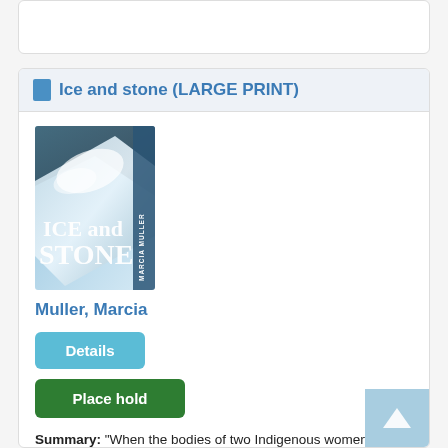Ice and stone (LARGE PRINT)
[Figure (photo): Book cover of 'Ice and Stone' by Marcia Muller showing an icy wilderness scene with large text 'ICE and STONE' and author name 'MARCIA MULLER' along the spine]
Muller, Marcia
Details
Place hold
Summary: "When the bodies of two Indigenous women are found in the wilderness of northern California, it is only the